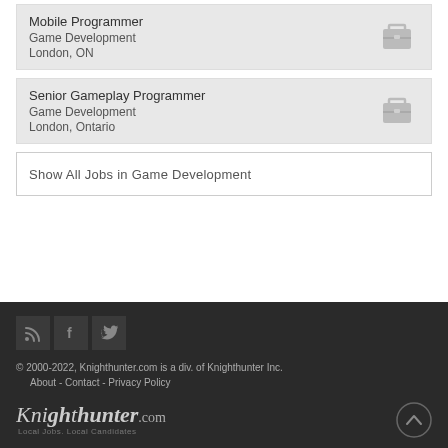Mobile Programmer
Game Development
London, ON
Senior Gameplay Programmer
Game Development
London, Ontario
Show All Jobs in Game Development
© 2000-2022, Knighthunter.com is a div. of Knighthunter Inc.
About - Contact - Privacy Policy
Knighthunter.com Local Jobs, Local Candidates